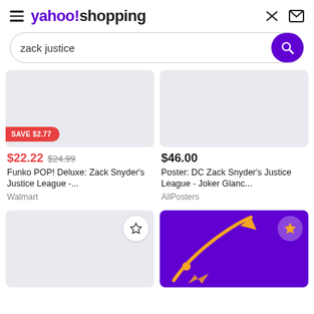yahoo!shopping
zack justice
[Figure (screenshot): Product card: Funko POP! Deluxe: Zack Snyder's Justice League -... with SAVE $2.77 badge, price $22.22 (was $24.99), sold by Walmart]
[Figure (screenshot): Product card: Poster: DC Zack Snyder's Justice League - Joker Glanc..., price $46.00, sold by AllPosters]
[Figure (screenshot): Bottom left product card with empty image and star bookmark icon]
[Figure (illustration): Bottom right purple card with yellow arrow/rocket graphic and gold star icon]